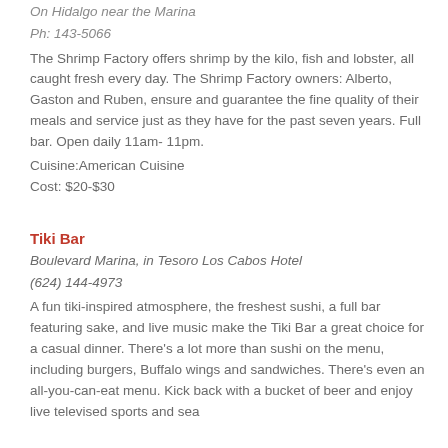On Hidalgo near the Marina
Ph: 143-5066
The Shrimp Factory offers shrimp by the kilo, fish and lobster, all caught fresh every day. The Shrimp Factory owners: Alberto, Gaston and Ruben, ensure and guarantee the fine quality of their meals and service just as they have for the past seven years. Full bar. Open daily 11am- 11pm.
Cuisine:American Cuisine
Cost: $20-$30
Tiki Bar
Boulevard Marina, in Tesoro Los Cabos Hotel
(624) 144-4973
A fun tiki-inspired atmosphere, the freshest sushi, a full bar featuring sake, and live music make the Tiki Bar a great choice for a casual dinner. There’s a lot more than sushi on the menu, including burgers, Buffalo wings and sandwiches. There’s even an all-you-can-eat menu. Kick back with a bucket of beer and enjoy live televised sports and sea